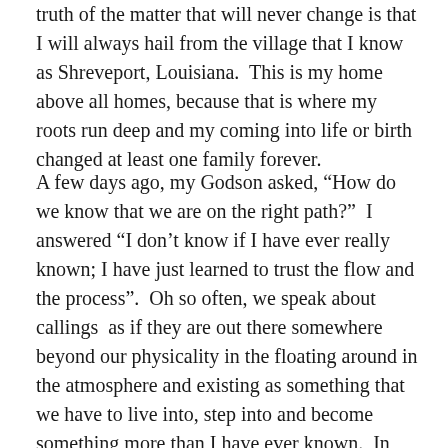truth of the matter that will never change is that I will always hail from the village that I know as Shreveport, Louisiana.  This is my home above all homes, because that is where my roots run deep and my coming into life or birth changed at least one family forever.

A few days ago, my Godson asked, “How do we know that we are on the right path?”  I answered “I don’t know if I have ever really known; I have just learned to trust the flow and the process”.  Oh so often, we speak about callings  as if they are out there somewhere beyond our physicality in the floating around in the atmosphere and existing as something that we have to live into, step into and become something more than I have ever known.  In fact our whole existence is a grand call and response to that which we have always been.  It is only out of pure familiarity that we even know a call is a call and it is faith that leads and